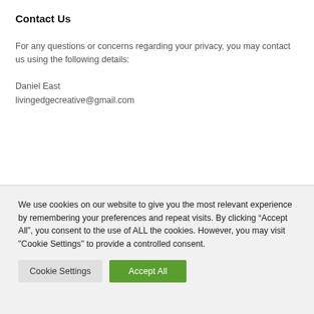Contact Us
For any questions or concerns regarding your privacy, you may contact us using the following details:
Daniel East
livingedgecreative@gmail.com
We use cookies on our website to give you the most relevant experience by remembering your preferences and repeat visits. By clicking “Accept All”, you consent to the use of ALL the cookies. However, you may visit "Cookie Settings" to provide a controlled consent.